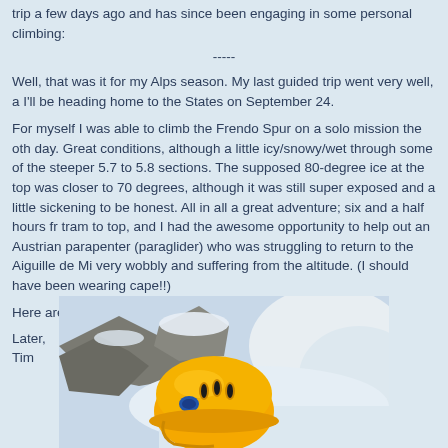trip a few days ago and has since been engaging in some personal climbing:
-----
Well, that was it for my Alps season. My last guided trip went very well, a I'll be heading home to the States on September 24.
For myself I was able to climb the Frendo Spur on a solo mission the oth day. Great conditions, although a little icy/snowy/wet through some of the steeper 5.7 to 5.8 sections. The supposed 80-degree ice at the top was closer to 70 degrees, although it was still super exposed and a little sickening to be honest. All in all a great adventure; six and a half hours fr tram to top, and I had the awesome opportunity to help out an Austrian parapenter (paraglider) who was struggling to return to the Aiguille de Mi very wobbly and suffering from the altitude. (I should have been wearing cape!!)
Here are just a few pics.
Later,
Tim
[Figure (photo): A yellow climbing helmet resting on rocky and snowy mountain terrain, with snow-covered rocks in the background under bright sunlight.]